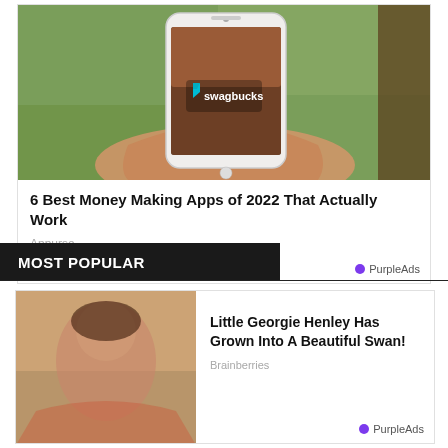[Figure (photo): Advertisement card showing a hand holding a white smartphone displaying the Swagbucks app logo on an outdoor grassy background]
6 Best Money Making Apps of 2022 That Actually Work
Appurse
PurpleAds
MOST POPULAR
[Figure (photo): Advertisement card with a partially visible image on the left and text content on the right]
Little Georgie Henley Has Grown Into A Beautiful Swan!
Brainberries
PurpleAds